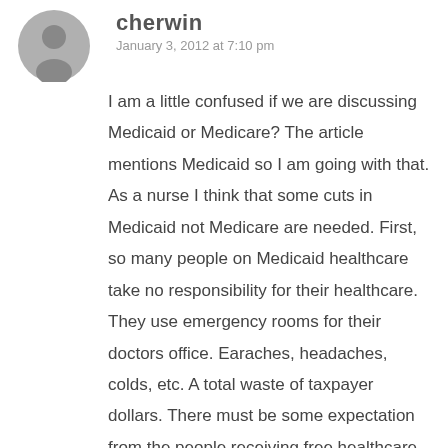[Figure (photo): Circular grey avatar/profile picture placeholder with a generic person silhouette icon]
cherwin
January 3, 2012 at 7:10 pm
I am a little confused if we are discussing Medicaid or Medicare? The article mentions Medicaid so I am going with that. As a nurse I think that some cuts in Medicaid not Medicare are needed. First, so many people on Medicaid healthcare take no responsibility for their healthcare. They use emergency rooms for their doctors office. Earaches, headaches, colds, etc. A total waste of taxpayer dollars. There must be some expectation from the people receiving free healthcare but there never has been and their never will be- unfortunately. They all know that it is too much bother to get a doctor and go to that doctor for